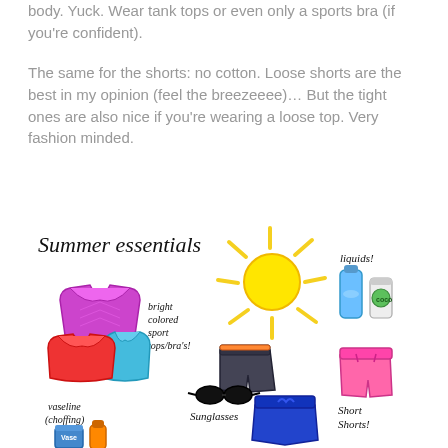body. Yuck. Wear tank tops or even only a sports bra (if you're confident).
The same for the shorts: no cotton. Loose shorts are the best in my opinion (feel the breezeeee)… But the tight ones are also nice if you're wearing a loose top. Very fashion minded.
[Figure (illustration): Hand-drawn illustration of summer running essentials: a yellow sun, a purple/pink sports bra, a cyan/blue sports top, a red sports top, sunglasses, dark gray and orange shorts, pink shorts, a blue skirt, a water bottle, a coconut water can, and a jar of vaseline. Labels in handwritten style text: 'Summer essentials', 'bright colored sport tops/bra's!', 'liquids!', 'vaseline (choffing)', 'Sunglasses', 'Short Shorts!']